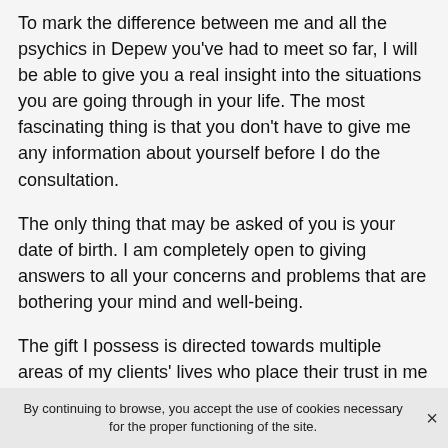To mark the difference between me and all the psychics in Depew you've had to meet so far, I will be able to give you a real insight into the situations you are going through in your life. The most fascinating thing is that you don't have to give me any information about yourself before I do the consultation.
The only thing that may be asked of you is your date of birth. I am completely open to giving answers to all your concerns and problems that are bothering your mind and well-being.
The gift I possess is directed towards multiple areas of my clients' lives who place their trust in me as I am the best free medium in New York offering many services.
I offer services related to astrology, but also to psychic
By continuing to browse, you accept the use of cookies necessary for the proper functioning of the site.